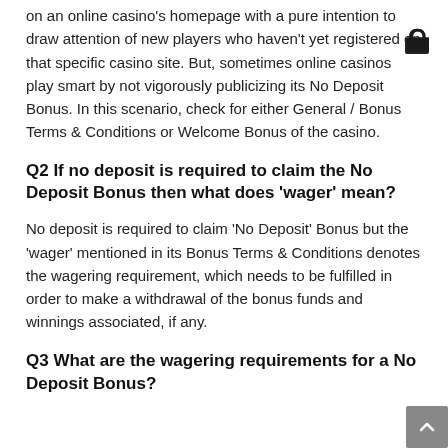on an online casino's homepage with a pure intention to draw attention of new players who haven't yet registered on that specific casino site. But, sometimes online casinos play smart by not vigorously publicizing its No Deposit Bonus. In this scenario, check for either General / Bonus Terms & Conditions or Welcome Bonus of the casino.
Q2 If no deposit is required to claim the No Deposit Bonus then what does 'wager' mean?
No deposit is required to claim 'No Deposit' Bonus but the 'wager' mentioned in its Bonus Terms & Conditions denotes the wagering requirement, which needs to be fulfilled in order to make a withdrawal of the bonus funds and winnings associated, if any.
Q3 What are the wagering requirements for a No Deposit Bonus?